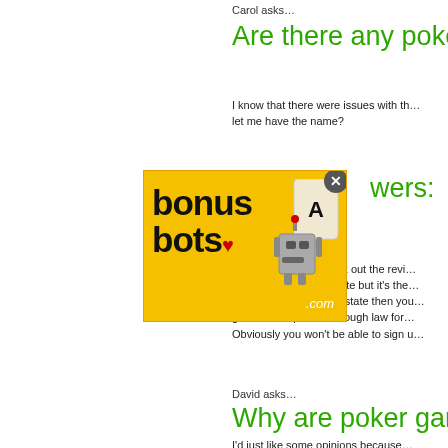Carol asks…
Are there any poke…
I know that there were issues with th… let me have the name?
[Figure (illustration): BonusBots.com advertisement banner with yellow background, logo text 'bonusbots.com' and robot/card illustration, with a close button (x) in top right]
wers:
ilable for U.S. Re… Bovada Poker, … Poker. It's best to check out the revi… states (they differ per site but it's the… you live in Washington state then you… government passed a tough law for… Obviously you won't be able to sign u…
David asks…
Why are poker gam…
I'd just like some opinions because…